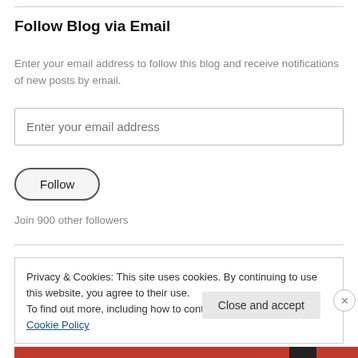Follow Blog via Email
Enter your email address to follow this blog and receive notifications of new posts by email.
Enter your email address
Follow
Join 900 other followers
Privacy & Cookies: This site uses cookies. By continuing to use this website, you agree to their use.
To find out more, including how to control cookies, see here: Cookie Policy
Close and accept